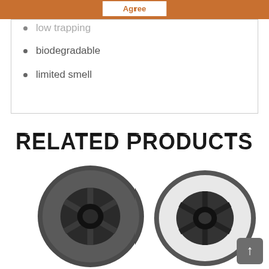Agree
low trapping
biodegradable
limited smell
RELATED PRODUCTS
[Figure (photo): Dark gray 3D printer filament spool]
[Figure (photo): White 3D printer filament spool]